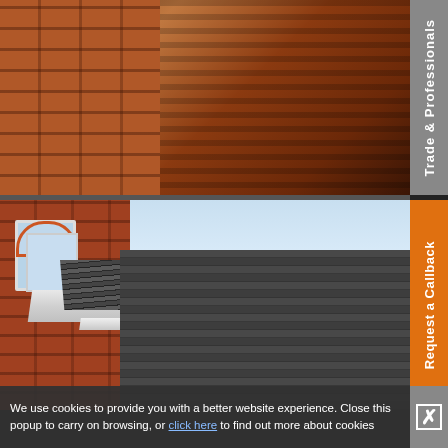[Figure (photo): Close-up of a dark brown/mahogany roller shutter door with horizontal slats, installed on a brick building. Visible brick surround on the left side.]
[Figure (photo): Exterior photo of a red brick house with a dark grey roller/sectional garage door. White fascia board visible above the door. Arched window visible on the brick wall to the left. Blue sky in background.]
Trade & Professionals
Request a Callback
We use cookies to provide you with a better website experience. Close this popup to carry on browsing, or click here to find out more about cookies